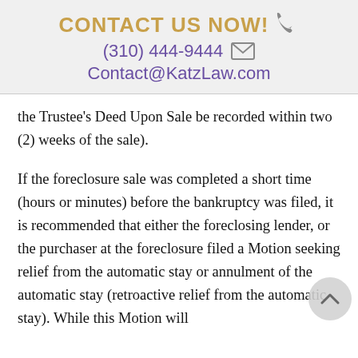CONTACT US NOW! (310) 444-9444 Contact@KatzLaw.com
the Trustee's Deed Upon Sale be recorded within two (2) weeks of the sale).
If the foreclosure sale was completed a short time (hours or minutes) before the bankruptcy was filed, it is recommended that either the foreclosing lender, or the purchaser at the foreclosure filed a Motion seeking relief from the automatic stay or annulment of the automatic stay (retroactive relief from the automatic stay). While this Motion will